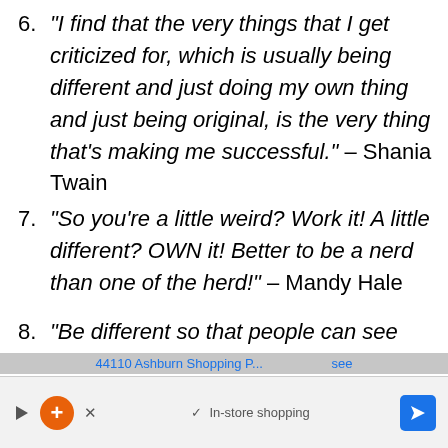6. “I find that the very things that I get criticized for, which is usually being different and just doing my own thing and just being original, is the very thing that’s making me successful.” – Shania Twain
7. “So you’re a little weird? Work it! A little different? OWN it! Better to be a nerd than one of the herd!” – Mandy Hale
8. “Be different so that people can see...
[Figure (screenshot): Mobile ad banner overlay at bottom of screen showing '44110 Ashburn Shopping P...' text, navigation icons including a play button, orange plus circle, X button, checkmark with 'In-store shopping' text, and a blue navigation arrow button.]